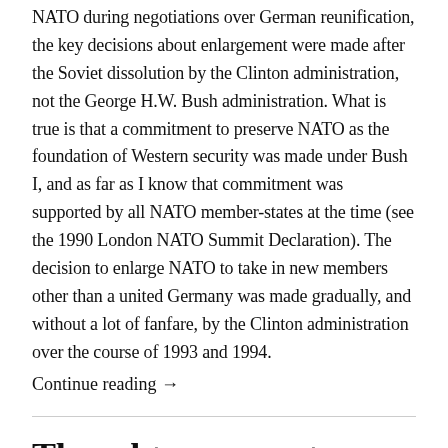NATO during negotiations over German reunification, the key decisions about enlargement were made after the Soviet dissolution by the Clinton administration, not the George H.W. Bush administration. What is true is that a commitment to preserve NATO as the foundation of Western security was made under Bush I, and as far as I know that commitment was supported by all NATO member-states at the time (see the 1990 London NATO Summit Declaration). The decision to enlarge NATO to take in new members other than a united Germany was made gradually, and without a lot of fanfare, by the Clinton administration over the course of 1993 and 1994.
Continue reading →
Thoughts on a post-Ukraine crisis security settlement for Europe